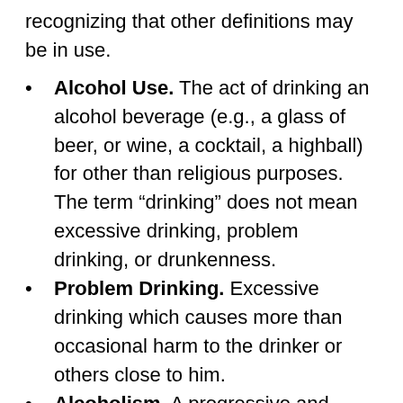recognizing that other definitions may be in use.
Alcohol Use. The act of drinking an alcohol beverage (e.g., a glass of beer, or wine, a cocktail, a highball) for other than religious purposes. The term “drinking” does not mean excessive drinking, problem drinking, or drunkenness.
Problem Drinking. Excessive drinking which causes more than occasional harm to the drinker or others close to him.
Alcoholism. A progressive and chronic disease manifested by repeated implicative drinking so as to cause injury to the drinker’s health or to his social or economic functioning (Mark